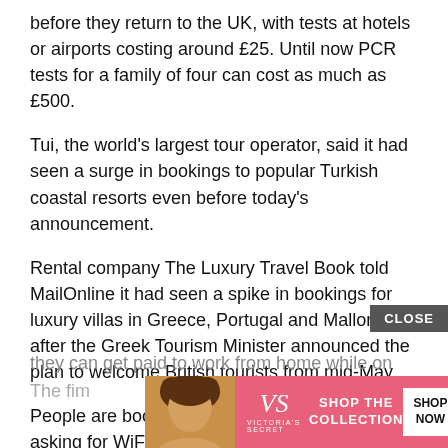before they return to the UK, with tests at hotels or airports costing around £25. Until now PCR tests for a family of four can cost as much as £500.
Tui, the world's largest tour operator, said it had seen a surge in bookings to popular Turkish coastal resorts even before today's announcement.
Rental company The Luxury Travel Book told MailOnline it had seen a spike in bookings for luxury villas in Greece, Portugal and Mallorca after the Greek Tourism Minister announced the plan to welcome British tourists from mid-May.
People are booking up for month-long trips and asking for WiFi and a desk and are taking the whole family so that they can get paid to work from home while on holiday.
The firm ... ts for
[Figure (other): Victoria's Secret advertisement banner with model photo, pink background, logo, 'SHOP THE COLLECTION' text, and 'SHOP NOW' button. A 'CLOSE' button appears above the ad.]